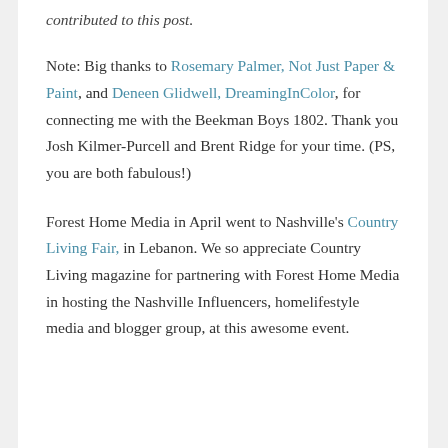contributed to this post.
Note: Big thanks to Rosemary Palmer, Not Just Paper & Paint, and Deneen Glidwell, DreamingInColor, for connecting me with the Beekman Boys 1802. Thank you Josh Kilmer-Purcell and Brent Ridge for your time. (PS, you are both fabulous!)
Forest Home Media in April went to Nashville's Country Living Fair, in Lebanon. We so appreciate Country Living magazine for partnering with Forest Home Media in hosting the Nashville Influencers, homelifestyle media and blogger group, at this awesome event.